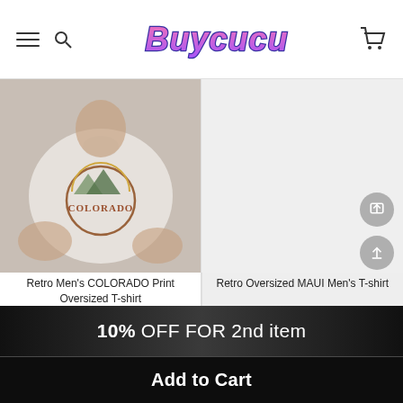Buycucu — navigation header with hamburger menu, search, logo, and cart icon
[Figure (photo): Photo of a person wearing a white oversized t-shirt with COLORADO retro graphic print]
[Figure (photo): Light grey placeholder image for Retro Oversized MAUI Men's T-shirt product with share and upload action buttons]
Retro Men's COLORADO Print Oversized T-shirt
Retro Oversized MAUI Men's T-shirt
10% OFF FOR 2nd item
Add to Cart